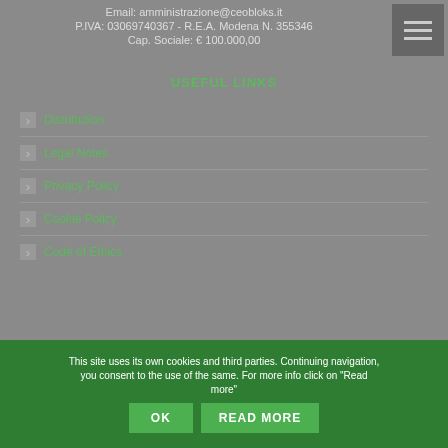Email: amministrazione@ceobloks.it
P.IVA: 03069740367 - R.E.A. Modena N. 355346
Cap. Sociale: € 100.000,00
USEFUL LINKS
Distribution
Legal Notes
Privacy Policy
Cookie Policy
Code of Ethics
This site uses its own cookies and third parties. Continuing navigation, you consent to the use of the same. For more info click on "Read more"
OK  READ MORE